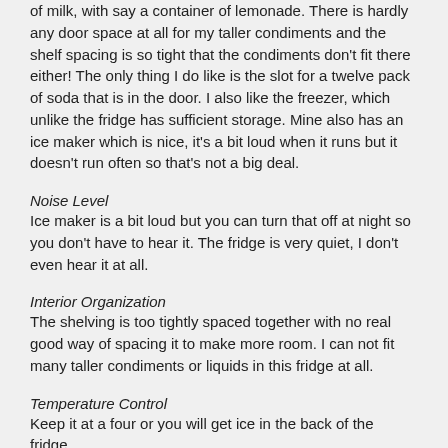of milk, with say a container of lemonade. There is hardly any door space at all for my taller condiments and the shelf spacing is so tight that the condiments don't fit there either! The only thing I do like is the slot for a twelve pack of soda that is in the door. I also like the freezer, which unlike the fridge has sufficient storage. Mine also has an ice maker which is nice, it's a bit loud when it runs but it doesn't run often so that's not a big deal.
Noise Level
Ice maker is a bit loud but you can turn that off at night so you don't have to hear it. The fridge is very quiet, I don't even hear it at all.
Interior Organization
The shelving is too tightly spaced together with no real good way of spacing it to make more room. I can not fit many taller condiments or liquids in this fridge at all.
Temperature Control
Keep it at a four or you will get ice in the back of the fridge.